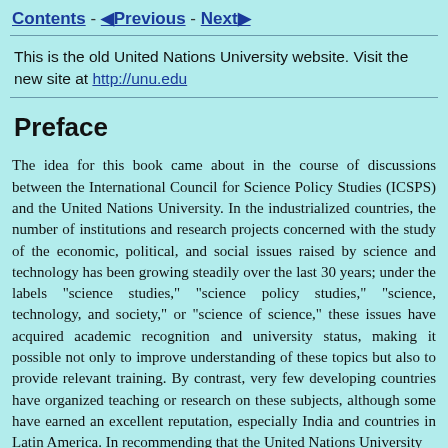Contents - Previous - Next
This is the old United Nations University website. Visit the new site at http://unu.edu
Preface
The idea for this book came about in the course of discussions between the International Council for Science Policy Studies (ICSPS) and the United Nations University. In the industrialized countries, the number of institutions and research projects concerned with the study of the economic, political, and social issues raised by science and technology has been growing steadily over the last 30 years; under the labels "science studies," "science policy studies," "science, technology, and society," or "science of science," these issues have acquired academic recognition and university status, making it possible not only to improve understanding of these topics but also to provide relevant training. By contrast, very few developing countries have organized teaching or research on these subjects, although some have earned an excellent reputation, especially India and countries in Latin America. In recommending that the United Nations University